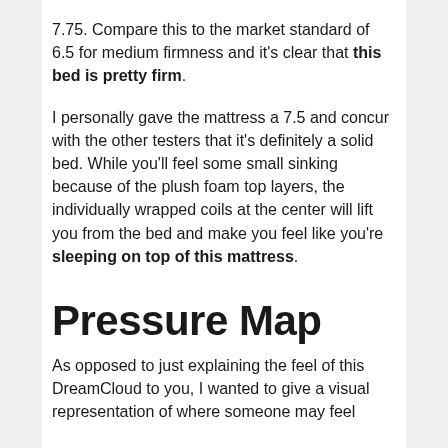7.75. Compare this to the market standard of 6.5 for medium firmness and it's clear that this bed is pretty firm.
I personally gave the mattress a 7.5 and concur with the other testers that it's definitely a solid bed. While you'll feel some small sinking because of the plush foam top layers, the individually wrapped coils at the center will lift you from the bed and make you feel like you're sleeping on top of this mattress.
Pressure Map
As opposed to just explaining the feel of this DreamCloud to you, I wanted to give a visual representation of where someone may feel